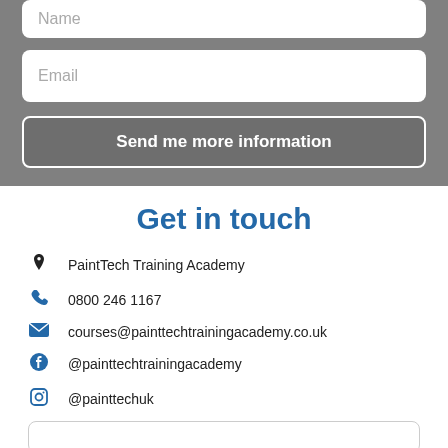[Figure (screenshot): Gray form section with Name input (partially visible at top), Email input field, and a 'Send me more information' button]
Get in touch
PaintTech Training Academy
0800 246 1167
courses@painttechtrainingacademy.co.uk
@painttechtrainingacademy
@painttechuk
[Figure (screenshot): Bottom of page showing partial input field outline]